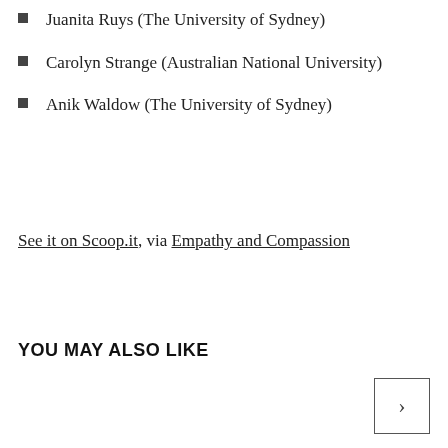Juanita Ruys (The University of Sydney)
Carolyn Strange (Australian National University)
Anik Waldow (The University of Sydney)
See it on Scoop.it, via Empathy and Compassion
YOU MAY ALSO LIKE